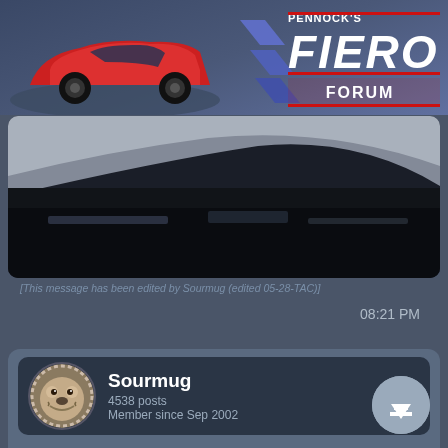[Figure (logo): Pennock's Fiero Forum logo with red Pontiac Fiero car illustration on left and stylized FIERO FORUM text on right with blue geometric shapes]
[Figure (photo): Dark photo showing undercarriage or body panel of a car, partially visible at top of page]
[This message has been edited by Sourmug (edited 05-28-TAC)]
08:21 PM
[Figure (illustration): Bulldog avatar/profile image for user Sourmug]
Sourmug
4538 posts
Member since Sep 2002
Here's a couple of pics showing the form strips attached and ready for the foam. It is all held in place using tape:
[Figure (photo): Photo showing form strips and tape attached, ready for foam application - car parts on cardboard surface]